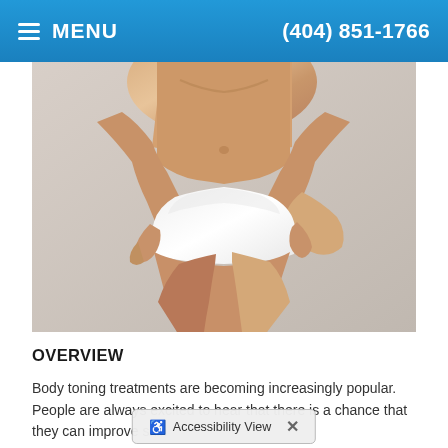≡ MENU   (404) 851-1766
[Figure (photo): Close-up photo of a woman's midsection and thigh area wearing white underwear, hands touching body, on a light gray background. Related to body toning/contouring treatments.]
OVERVIEW
Body toning treatments are becoming increasingly popular. People are always excited to hear that there is a chance that they can improve skin